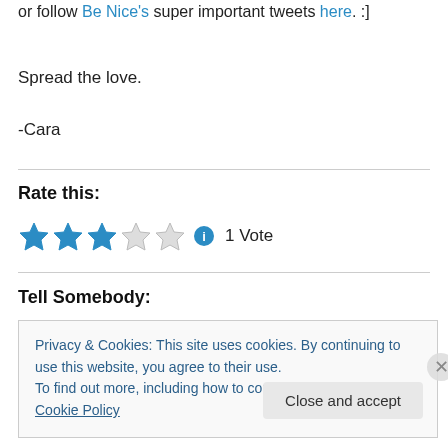or follow Be Nice's super important tweets here. :]
Spread the love.
-Cara
Rate this:
[Figure (other): 3 out of 5 blue stars rating with info icon and 1 Vote label]
Tell Somebody:
Privacy & Cookies: This site uses cookies. By continuing to use this website, you agree to their use.
To find out more, including how to control cookies, see here: Cookie Policy
Close and accept